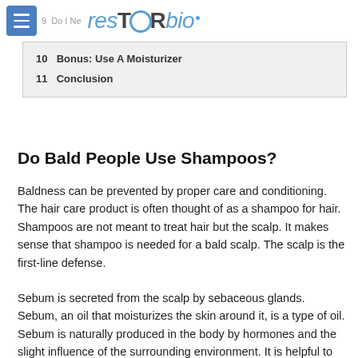resTORbio
10  Bonus: Use A Moisturizer
11  Conclusion
Do Bald People Use Shampoos?
Baldness can be prevented by proper care and conditioning. The hair care product is often thought of as a shampoo for hair. Shampoos are not meant to treat hair but the scalp. It makes sense that shampoo is needed for a bald scalp. The scalp is the first-line defense.
Sebum is secreted from the scalp by sebaceous glands. Sebum, an oil that moisturizes the skin around it, is a type of oil. Sebum is naturally produced in the body by hormones and the slight influence of the surrounding environment. It is helpful to consider a specific scenario where sebum can be created.